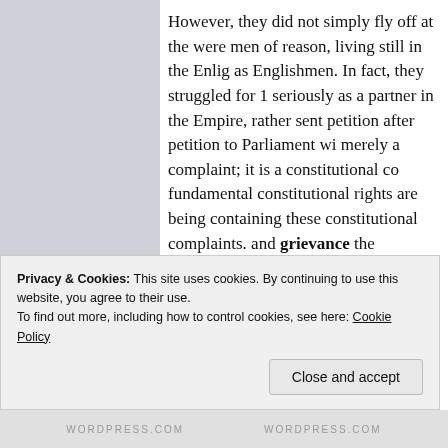However, they did not simply fly off at the were men of reason, living still in the Enlig as Englishmen. In fact, they struggled for 1 seriously as a partner in the Empire, rather sent petition after petition to Parliament wi merely a complaint; it is a constitutional co fundamental constitutional rights are being containing these constitutional complaints. and grievance the Americans were trying d that this was serious, that they felt their rig Constitution were being violated, and they remember how many petitions they sent—I was at least two, perhaps three. They were
Privacy & Cookies: This site uses cookies. By continuing to use this website, you agree to their use.
To find out more, including how to control cookies, see here: Cookie Policy